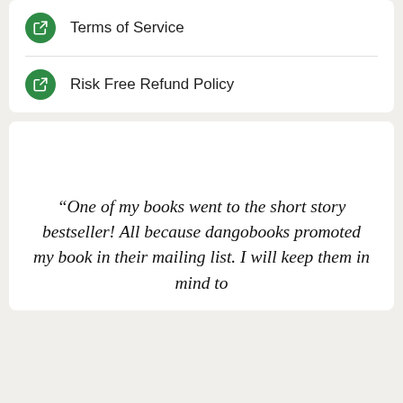Terms of Service
Risk Free Refund Policy
“One of my books went to the short story bestseller! All because dangobooks promoted my book in their mailing list. I will keep them in mind to